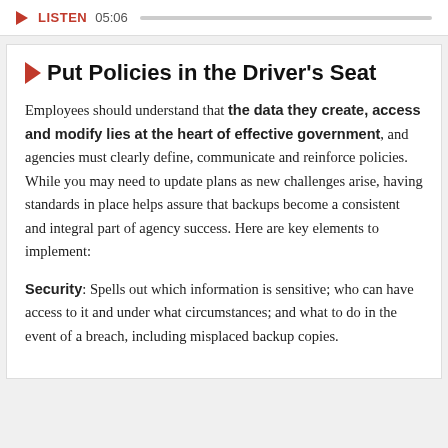LISTEN 05:06
Put Policies in the Driver's Seat
Employees should understand that the data they create, access and modify lies at the heart of effective government, and agencies must clearly define, communicate and reinforce policies. While you may need to update plans as new challenges arise, having standards in place helps assure that backups become a consistent and integral part of agency success. Here are key elements to implement:
Security: Spells out which information is sensitive; who can have access to it and under what circumstances; and what to do in the event of a breach, including misplaced backup copies.